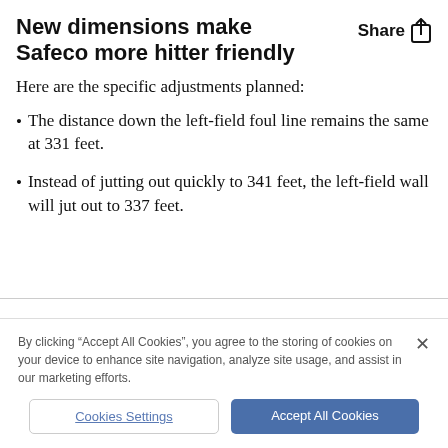New dimensions make Safeco more hitter friendly
Here are the specific adjustments planned:
The distance down the left-field foul line remains the same at 331 feet.
Instead of jutting out quickly to 341 feet, the left-field wall will jut out to 337 feet.
By clicking “Accept All Cookies”, you agree to the storing of cookies on your device to enhance site navigation, analyze site usage, and assist in our marketing efforts.